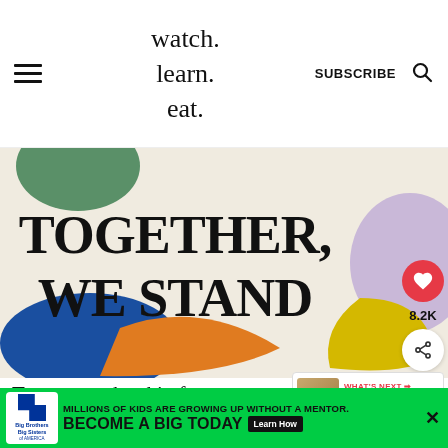watch. learn. eat. | SUBSCRIBE
[Figure (illustration): Colorful graphic with bold text 'TOGETHER, WE STAND' on a cream/off-white background with abstract colored shapes: green blob top-left, purple blob top-right, blue and orange shapes bottom-left, yellow shape bottom-right]
8.2K
[Figure (photo): WHAT'S NEXT thumbnail - Basic Hummus...]
To remove the skin from a ch... rub it between your pointer finger a... he off.
[Figure (other): Advertisement banner: Big Brothers Big Sisters. MILLIONS OF KIDS ARE GROWING UP WITHOUT A MENTOR. BECOME A BIG TODAY. Learn How.]